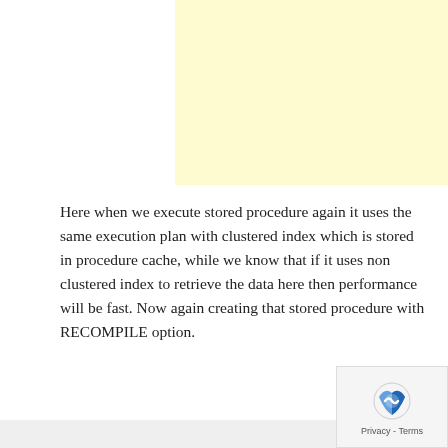[Figure (other): Yellow/cream colored rectangular box at the top of the page]
Here when we execute stored procedure again it uses the same execution plan with clustered index which is stored in procedure cache, while we know that if it uses non clustered index to retrieve the data here then performance will be fast. Now again creating that stored procedure with RECOMPILE option.
drop procedure xspdetails
go
create procedure xspdetails(@address as va
WITH RECOMPILE
as
begin
select address,name from xtdetails where a